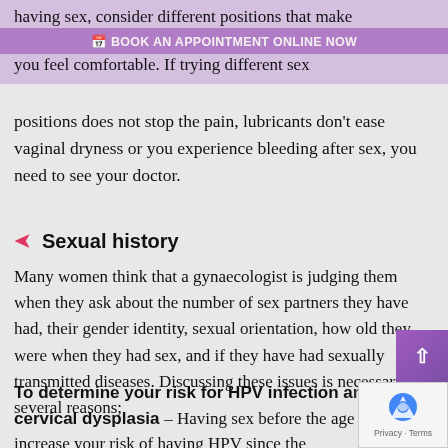having sex, consider different positions that make you feel comfortable. If trying different sex
📅 BOOK AN APPOINTMENT ONLINE NOW
positions does not stop the pain, lubricants don't ease vaginal dryness or you experience bleeding after sex, you need to see your doctor.
Sexual history
Many women think that a gynaecologist is judging them when they ask about the number of sex partners they have had, their gender identity, sexual orientation, how old they were when they had sex, and if they have had sexually transmitted diseases. Discussing these issues is necessary for several reasons;
To determine your risk for HPV infection and cervical dysplasia - Having sex before the age of 18 can increase your risk of having HPV since the